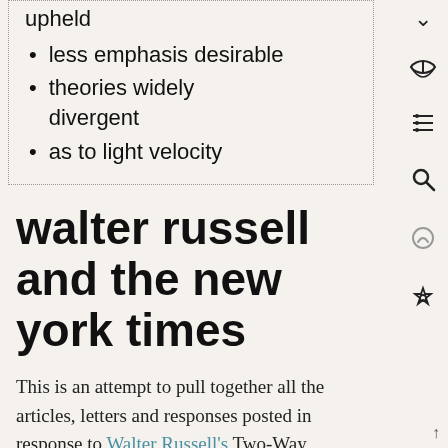upheld
less emphasis desirable
theories widely divergent
as to light velocity
walter russell and the new york times
This is an attempt to pull together all the articles, letters and responses posted in response to Walter Russell's Two-Way cosmogeny.